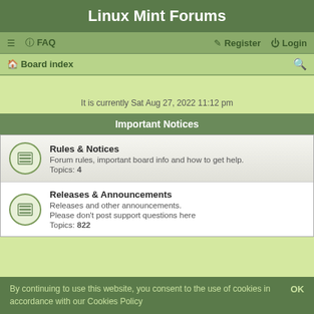Linux Mint Forums
≡  FAQ    Register    Login
Board index
It is currently Sat Aug 27, 2022 11:12 pm
Important Notices
| Icon | Forum | Description | Topics |
| --- | --- | --- | --- |
| [icon] | Rules & Notices | Forum rules, important board info and how to get help. | 4 |
| [icon] | Releases & Announcements | Releases and other announcements.
Please don't post support questions here | 822 |
By continuing to use this website, you consent to the use of cookies in accordance with our Cookies Policy    OK